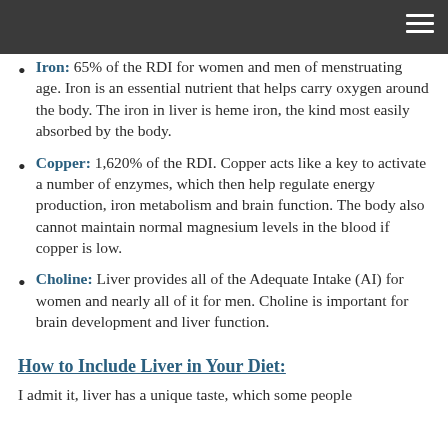Iron: 65% of the RDI for women and men of menstruating age. Iron is an essential nutrient that helps carry oxygen around the body. The iron in liver is heme iron, the kind most easily absorbed by the body.
Copper: 1,620% of the RDI. Copper acts like a key to activate a number of enzymes, which then help regulate energy production, iron metabolism and brain function. The body also cannot maintain normal magnesium levels in the blood if copper is low.
Choline: Liver provides all of the Adequate Intake (AI) for women and nearly all of it for men. Choline is important for brain development and liver function.
How to Include Liver in Your Diet:
I admit it, liver has a unique taste, which some people